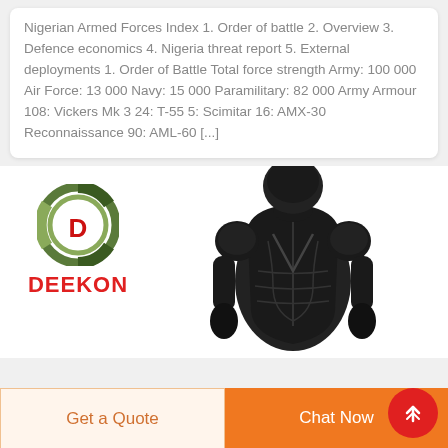Nigerian Armed Forces Index 1. Order of battle 2. Overview 3. Defence economics 4. Nigeria threat report 5. External deployments 1. Order of Battle Total force strength Army: 100 000 Air Force: 13 000 Navy: 15 000 Paramilitary: 82 000 Army Armour 108: Vickers Mk 3 24: T-55 5: Scimitar 16: AMX-30 Reconnaissance 90: AML-60 [...]
[Figure (logo): Deekon logo - circular camouflage pattern with D letter in center, red DEEKON text below]
[Figure (photo): Black full-body armor/chest protector with shoulder guards and arm protection]
Get a Quote
Chat Now